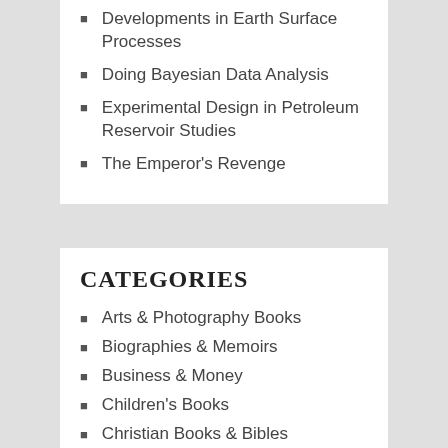Developments in Earth Surface Processes
Doing Bayesian Data Analysis
Experimental Design in Petroleum Reservoir Studies
The Emperor's Revenge
CATEGORIES
Arts & Photography Books
Biographies & Memoirs
Business & Money
Children's Books
Christian Books & Bibles
Cookbooks, Food & Wine